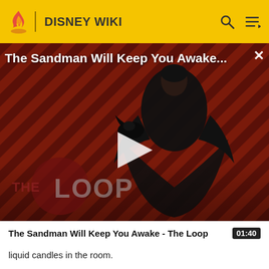DISNEY WIKI
[Figure (screenshot): Video thumbnail showing a dark figure in a black cape against a red and black diagonal striped background. A play button is centered. Title reads 'The Sandman Will Keep You Awake...' with a close X button. 'THE LOOP' watermark logo visible in lower left.]
The Sandman Will Keep You Awake - The Loop  01:40
liquid candles in the room.
Buldeo tries to kill Mowgli while Boone is still holding Kitty, but while chasing him inside a crypt, he accidentally sets